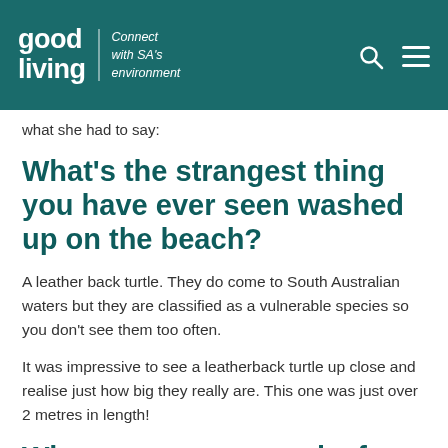good living | Connect with SA's environment
what she had to say:
What’s the strangest thing you have ever seen washed up on the beach?
A leather back turtle. They do come to South Australian waters but they are classified as a vulnerable species so you don’t see them too often.
It was impressive to see a leatherback turtle up close and realise just how big they really are. This one was just over 2 metres in length!
Where can you see a leafy sea